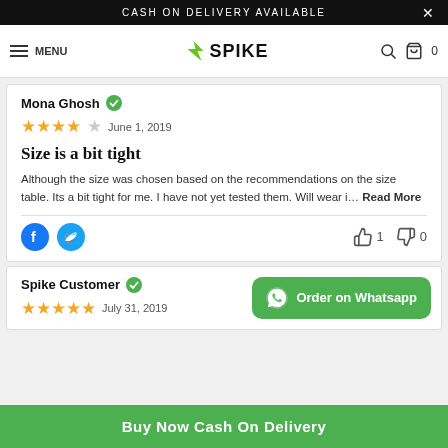CASH ON DELIVERY AVAILABLE
[Figure (screenshot): Navigation bar with hamburger menu, SPIKE logo in green, search icon and cart icon]
Mona Ghosh ✓
★★★★☆ June 1, 2019
Size is a bit tight
Although the size was chosen based on the recommendations on the size table. Its a bit tight for me. I have not yet tested them. Will wear i… Read More
👍 1  👎 0
Spike Customer ✓
★★★★★ July 31, 2019
[Figure (screenshot): Order on Whatsapp button in green]
Buy Now Cash On Delivery